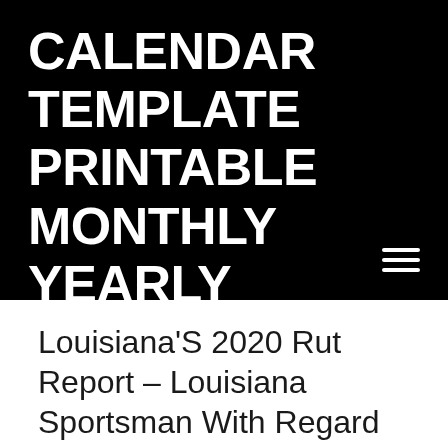CALENDAR TEMPLATE PRINTABLE MONTHLY YEARLY
Louisiana'S 2020 Rut Report – Louisiana Sportsman With Regard To Parish Rut